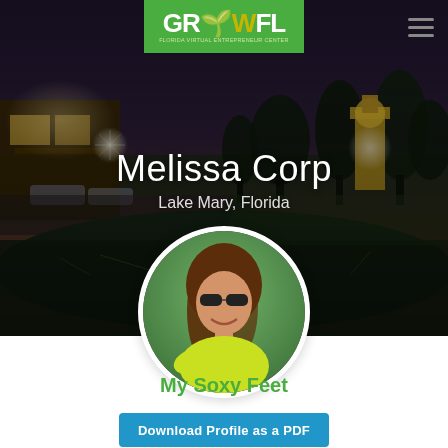[Figure (photo): GrowFL logo on green background, top center]
[Figure (photo): Hero background: twilight cityscape with pond, trees, street lights, and clock tower in Lake Mary Florida]
Melissa Corp
Lake Mary, Florida
[Figure (photo): Circular profile photo of a smiling woman with brown hair, sunglasses, and yellow athletic wear outdoors]
My Soxy Feet
Download Profile as a PDF